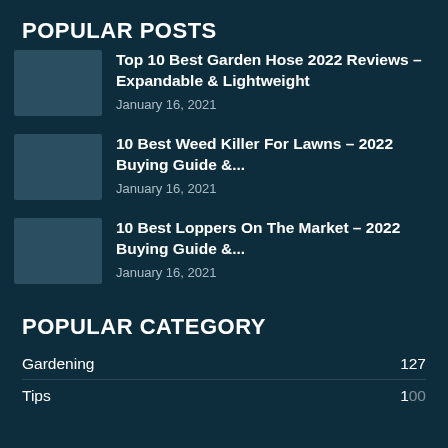POPULAR POSTS
Top 10 Best Garden Hose 2022 Reviews – Expandable & Lightweight
January 16, 2021
10 Best Weed Killer For Lawns – 2022 Buying Guide &...
January 16, 2021
10 Best Loppers On The Market – 2022 Buying Guide &...
January 16, 2021
POPULAR CATEGORY
Gardening  127